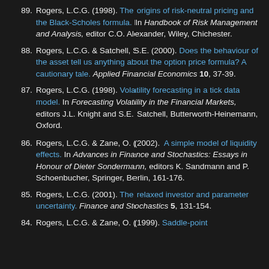89. Rogers, L.C.G. (1998). The origins of risk-neutral pricing and the Black-Scholes formula. In Handbook of Risk Management and Analysis, editor C.O. Alexander, Wiley, Chichester.
88. Rogers, L.C.G. & Satchell, S.E. (2000). Does the behaviour of the asset tell us anything about the option price formula? A cautionary tale. Applied Financial Economics 10, 37-39.
87. Rogers, L.C.G. (1998). Volatility forecasting in a tick data model. In Forecasting Volatility in the Financial Markets, editors J.L. Knight and S.E. Satchell, Butterworth-Heinemann, Oxford.
86. Rogers, L.C.G. & Zane, O. (2002). A simple model of liquidity effects. In Advances in Finance and Stochastics: Essays in Honour of Dieter Sondermann, editors K. Sandmann and P. Schoenbucher, Springer, Berlin, 161-176.
85. Rogers, L.C.G. (2001). The relaxed investor and parameter uncertainty. Finance and Stochastics 5, 131-154.
84. Rogers, L.C.G. & Zane, O. (1999). Saddle-point approximations to option prices. [continues]